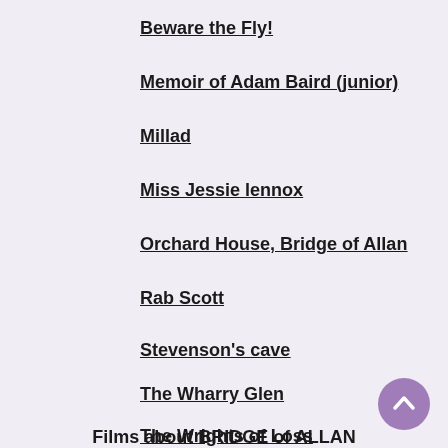Beware the Fly!
Memoir of Adam Baird (junior)
Millad
Miss Jessie lennox
Orchard House, Bridge of Allan
Rab Scott
Stevenson's cave
The Wharry Glen
The Wrights of Loss
Films about BRIDGE of ALLAN